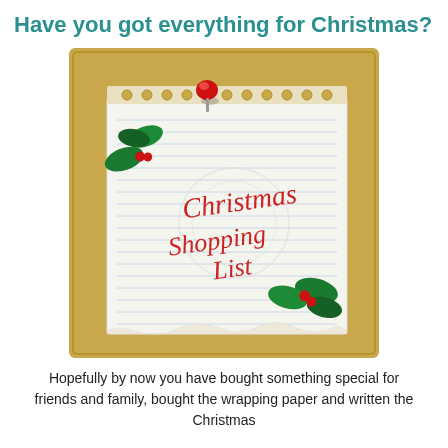Have you got everything for Christmas?
[Figure (illustration): A cork board with a lined notepad pinned to it by a red thumbtack. The notepad has 'Christmas Shopping List' written in red cursive script, decorated with holly leaves and berries.]
Hopefully by now you have bought something special for friends and family, bought the wrapping paper and written the Christmas